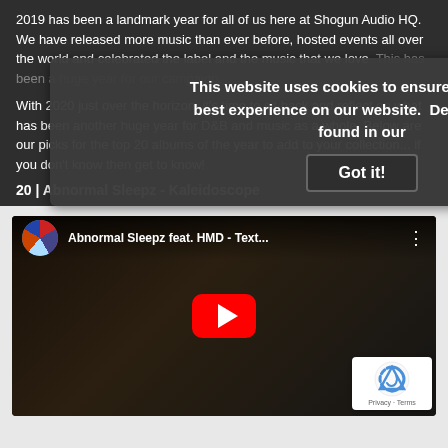2019 has been a landmark year for all of us here at Shogun Audio HQ. We have released more music than ever before, hosted events all over the world and celebrated the label and the music that we love. [cookie overlay obscures part] ...paign.
With 2020 just over the horizon, it's time to sit back and reflect on what has been another huge year for D&B and music as a whole. Below are our picks for the top 20 albums of the year to add to your collection... if you don't know then get to know!
20 | Abnormal Sleepz - Kaleidoscope
[Figure (screenshot): YouTube video embed showing 'Abnormal Sleepz feat. HMD - Text...' with a dark thumbnail of two people in a dimly lit room, a large red YouTube play button in the center, and a reCAPTCHA badge in the bottom right corner.]